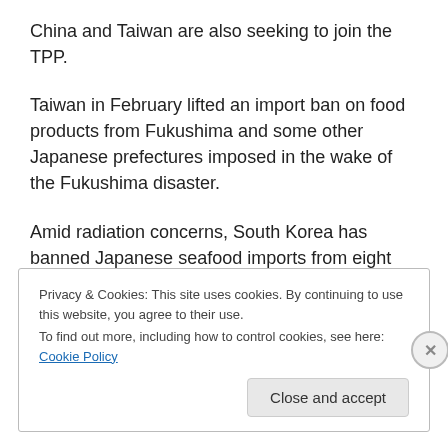China and Taiwan are also seeking to join the TPP.
Taiwan in February lifted an import ban on food products from Fukushima and some other Japanese prefectures imposed in the wake of the Fukushima disaster.
Amid radiation concerns, South Korea has banned Japanese seafood imports from eight prefectures, including Fukushima.
Privacy & Cookies: This site uses cookies. By continuing to use this website, you agree to their use.
To find out more, including how to control cookies, see here: Cookie Policy